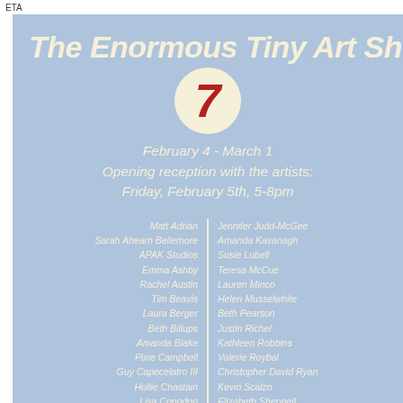ETA
The Enormous Tiny Art Sh
[Figure (illustration): A circle with cream/off-white background containing the large bold italic red number 7]
February 4 - March 1
Opening reception with the artists:
Friday, February 5th, 5-8pm
Matt Adrian
Sarah Ahearn Bellemore
APAK Studios
Emma Ashby
Rachel Austin
Tim Beavis
Laura Berger
Beth Billups
Amanda Blake
Pixie Campbell
Guy Capecelatro III
Hollie Chastain
Lisa Congdon
Jennifer Davis
Jennifer Judd-McGee
Amanda Kavanagh
Susie Lubell
Teresa McCue
Lauren Minco
Helen Musselwhite
Beth Pearson
Justin Richel
Kathleen Robbins
Valerie Roybal
Christopher David Ryan
Kevin Scalzo
Elizabeth Sheppell
Aimee Sicuro